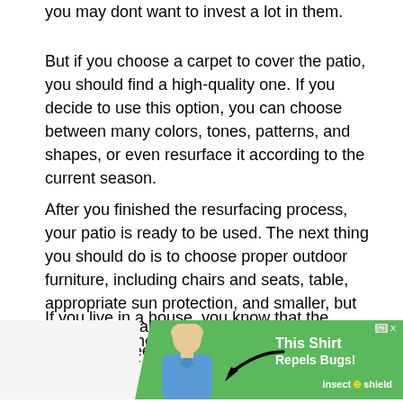you may dont want to invest a lot in them.
But if you choose a carpet to cover the patio, you should find a high-quality one. If you decide to use this option, you can choose between many colors, tones, patterns, and shapes, or even resurface it according to the current season.
After you finished the resurfacing process, your patio is ready to be used. The next thing you should do is to choose proper outdoor furniture, including chairs and seats, table, appropriate sun protection, and smaller, but important details, like cushions, flower pots, and table sheets.
If you live in a house, you know that the backyard is the heart of your home. You can spend quality time there, no matter if you want to be alone, or with your friends or family. You dont
[Figure (photo): Advertisement banner for Insect Shield shirt product featuring a woman in a blue shirt, a large arrow pointing at the shirt, green background with text 'This Shirt Repels Bugs! insect shield']